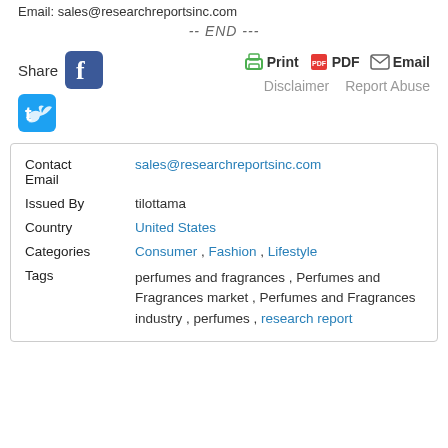Email: sales@researchreportsinc.com
-- END ---
[Figure (infographic): Share icons (Facebook, Twitter) and Print/PDF/Email buttons with Disclaimer and Report Abuse links]
| Contact Email | sales@researchreportsinc.com |
| Issued By | tilottama |
| Country | United States |
| Categories | Consumer , Fashion , Lifestyle |
| Tags | perfumes and fragrances , Perfumes and Fragrances market , Perfumes and Fragrances industry , perfumes , research report |